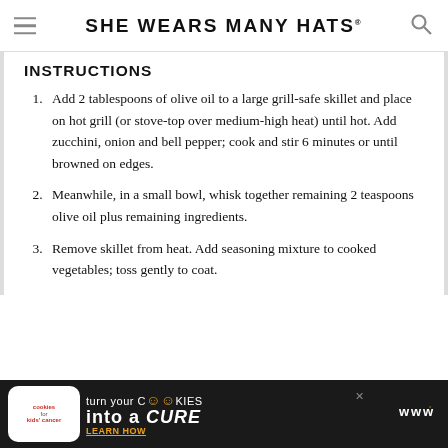SHE WEARS MANY HATS
INSTRUCTIONS
Add 2 tablespoons of olive oil to a large grill-safe skillet and place on hot grill (or stove-top over medium-high heat) until hot. Add zucchini, onion and bell pepper; cook and stir 6 minutes or until browned on edges.
Meanwhile, in a small bowl, whisk together remaining 2 teaspoons olive oil plus remaining ingredients.
Remove skillet from heat. Add seasoning mixture to cooked vegetables; toss gently to coat.
[Figure (other): Advertisement banner: cookies for kids cancer - turn your cookies into a CURE - LEARN HOW]